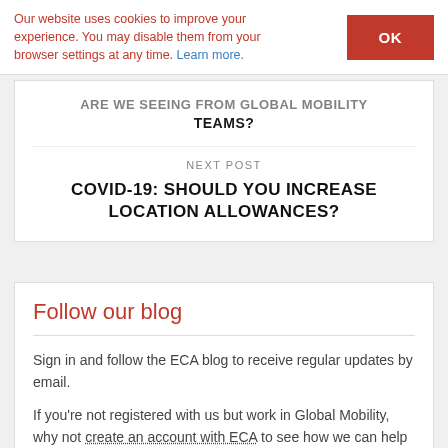Our website uses cookies to improve your experience. You may disable them from your browser settings at any time. Learn more.
ARE WE SEEING FROM GLOBAL MOBILITY TEAMS?
NEXT POST
COVID-19: SHOULD YOU INCREASE LOCATION ALLOWANCES?
Follow our blog
Sign in and follow the ECA blog to receive regular updates by email.
If you’re not registered with us but work in Global Mobility, why not create an account with ECA to see how we can help you.